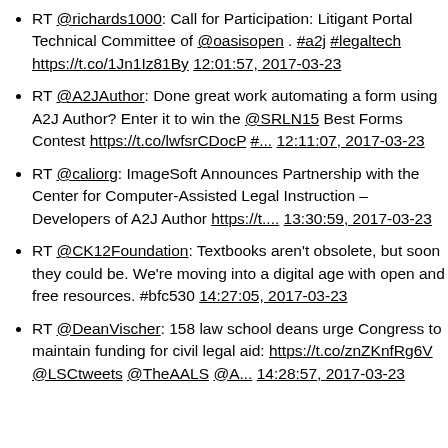RT @richards1000: Call for Participation: Litigant Portal Technical Committee of @oasisopen . #a2j #legaltech https://t.co/1Jn1Iz81By 12:01:57, 2017-03-23
RT @A2JAuthor: Done great work automating a form using A2J Author? Enter it to win the @SRLN15 Best Forms Contest https://t.co/lwfsrCDocP #... 12:11:07, 2017-03-23
RT @caliorg: ImageSoft Announces Partnership with the Center for Computer-Assisted Legal Instruction – Developers of A2J Author https://t.... 13:30:59, 2017-03-23
RT @CK12Foundation: Textbooks aren't obsolete, but soon they could be. We're moving into a digital age with open and free resources. #bfc530 14:27:05, 2017-03-23
RT @DeanVischer: 158 law school deans urge Congress to maintain funding for civil legal aid: https://t.co/znZKnfRg6V @LSCtweets @TheAALS @A... 14:28:57, 2017-03-23